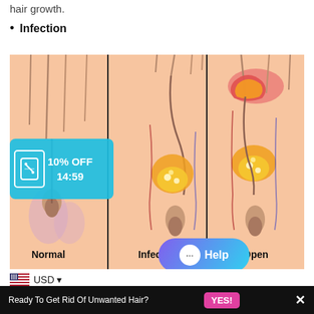hair growth.
Infection
[Figure (illustration): Medical illustration showing three cross-sections of skin and hair follicles: Normal (healthy follicle with straight hair), Infected (follicle with ingrown hair and yellow/orange pus pocket), and Open (infected follicle at surface with visible pus and inflammation). Labels read: Normal, Infected, Open. UI overlays include a '10% OFF 14:59' coupon badge in cyan and a 'Help' chat button.]
USD ▾
Ready To Get Rid Of Unwanted Hair? YES! ✕